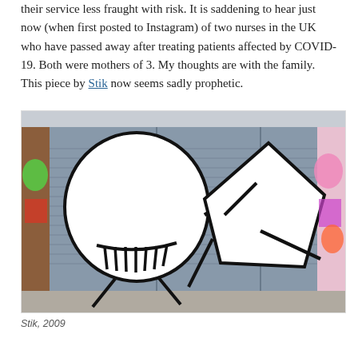their service less fraught with risk. It is saddening to hear just now (when first posted to Instagram) of two nurses in the UK who have passed away after treating patients affected by COVID-19. Both were mothers of 3. My thoughts are with the family. This piece by Stik now seems sadly prophetic.
[Figure (photo): Street artwork by Stik painted on a metal roller shutter door. The mural shows two large simplified stick-figure faces in black and white — one round-headed figure on the left appearing to embrace or lean toward a second figure on the right that has a more angular, pointed head. Colorful graffiti visible on the sides of the building.]
Stik, 2009